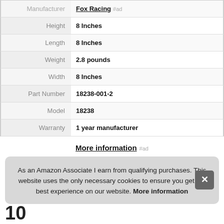| Manufacturer | Fox Racing #ad |
| Height | 8 Inches |
| Length | 8 Inches |
| Weight | 2.8 pounds |
| Width | 8 Inches |
| Part Number | 18238-001-2 |
| Model | 18238 |
| Warranty | 1 year manufacturer |
More information #ad
As an Amazon Associate I earn from qualifying purchases. This website uses the only necessary cookies to ensure you get the best experience on our website. More information
10